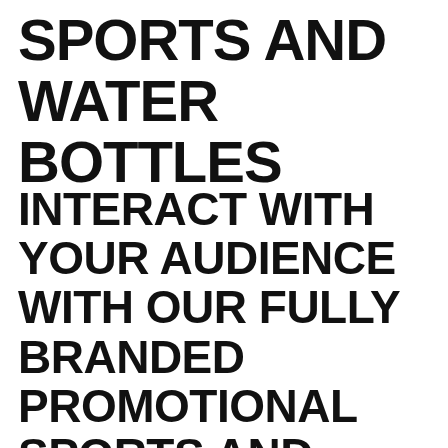SPORTS AND WATER BOTTLES
INTERACT WITH YOUR AUDIENCE WITH OUR FULLY BRANDED PROMOTIONAL SPORTS AND WATER BOTTLES. WITH LOTS OF PRINTING OPTIONS AND DESIGNS, YOU CAN SHOW OFF YOUR LOGO, SLOGAN, MESSAGE